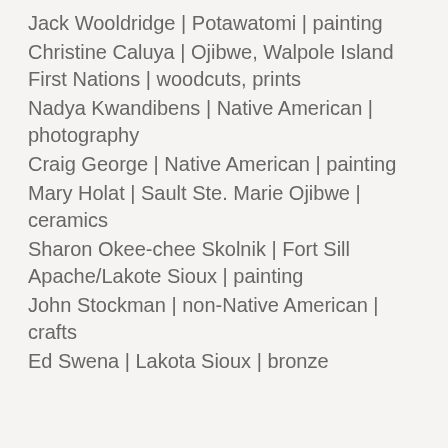Jack Wooldridge | Potawatomi | painting
Christine Caluya | Ojibwe, Walpole Island First Nations | woodcuts, prints
Nadya Kwandibens | Native American | photography
Craig George | Native American | painting
Mary Holat | Sault Ste. Marie Ojibwe | ceramics
Sharon Okee-chee Skolnik | Fort Sill Apache/Lakote Sioux | painting
John Stockman | non-Native American | crafts
Ed Swena | Lakota Sioux | bronze